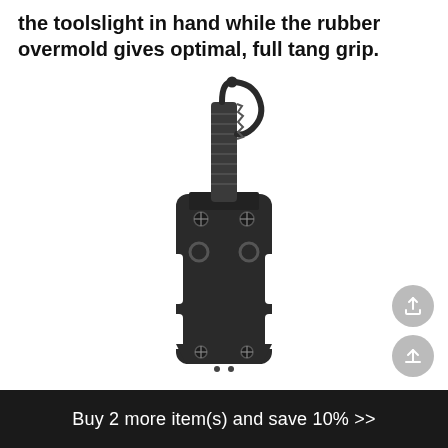the toolslight in hand while the rubber overmold gives optimal, full tang grip.
[Figure (photo): A black tactical knife/tool in a MOLLE-compatible plastic sheath/holster with clip and screws, photographed against a white background.]
Buy 2 more item(s) and save 10%  >>